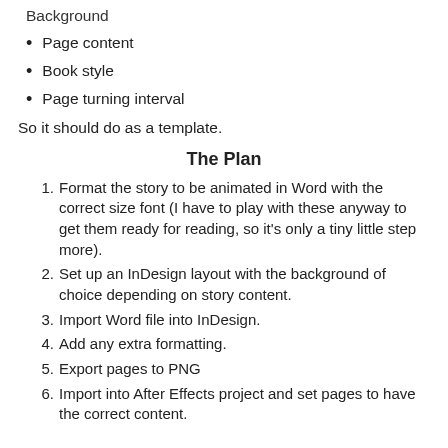Page content
Book style
Page turning interval
So it should do as a template.
The Plan
Format the story to be animated in Word with the correct size font (I have to play with these anyway to get them ready for reading, so it's only a tiny little step more).
Set up an InDesign layout with the background of choice depending on story content.
Import Word file into InDesign.
Add any extra formatting.
Export pages to PNG
Import into After Effects project and set pages to have the correct content.